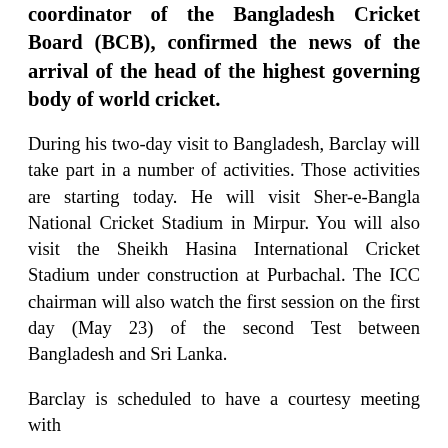coordinator of the Bangladesh Cricket Board (BCB), confirmed the news of the arrival of the head of the highest governing body of world cricket.
During his two-day visit to Bangladesh, Barclay will take part in a number of activities. Those activities are starting today. He will visit Sher-e-Bangla National Cricket Stadium in Mirpur. You will also visit the Sheikh Hasina International Cricket Stadium under construction at Purbachal. The ICC chairman will also watch the first session on the first day (May 23) of the second Test between Bangladesh and Sri Lanka.
Barclay is scheduled to have a courtesy meeting with